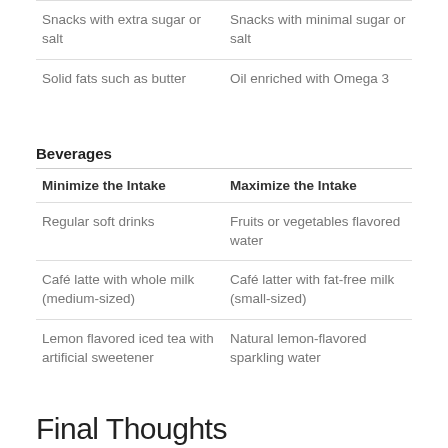| Snacks with extra sugar or salt | Snacks with minimal sugar or salt |
| Solid fats such as butter | Oil enriched with Omega 3 |
Beverages
| Minimize the Intake | Maximize the Intake |
| --- | --- |
| Regular soft drinks | Fruits or vegetables flavored water |
| Café latte with whole milk (medium-sized) | Café latter with fat-free milk (small-sized) |
| Lemon flavored iced tea with artificial sweetener | Natural lemon-flavored sparkling water |
Final Thoughts